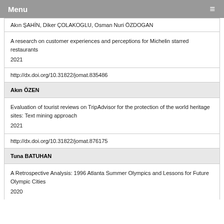Menu
Akın ŞAHİN, Diker ÇOLAKOGLU, Osman Nuri ÖZDOGAN
A research on customer experiences and perceptions for Michelin starred restaurants

2021
http://dx.doi.org/10.31822/jomat.835486
Akın ÖZEN
Evaluation of tourist reviews on TripAdvisor for the protection of the world heritage sites: Text mining approach

2021
http://dx.doi.org/10.31822/jomat.876175
Tuna BATUHAN
A Retrospective Analysis: 1996 Atlanta Summer Olympics and Lessons for Future Olympic Cities

2020